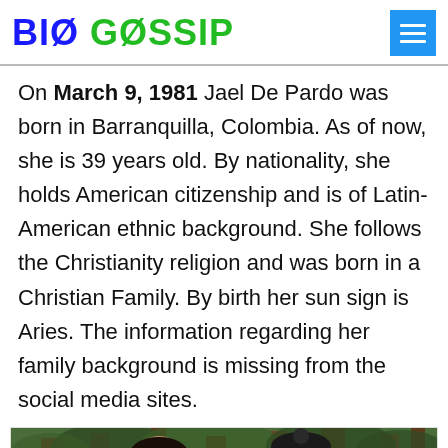BIO GOSSIP
On March 9, 1981 Jael De Pardo was born in Barranquilla, Colombia. As of now, she is 39 years old. By nationality, she holds American citizenship and is of Latin-American ethnic background. She follows the Christianity religion and was born in a Christian Family. By birth her sun sign is Aries. The information regarding her family background is missing from the social media sites.
[Figure (photo): Two women standing outdoors in front of large trees (forest setting). The woman on the left has long dark hair and sunglasses; the woman on the right wears a black knit hat.]